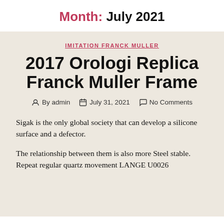Month: July 2021
IMITATION FRANCK MULLER
2017 Orologi Replica Franck Muller Frame
By admin   July 31, 2021   No Comments
Sigak is the only global society that can develop a silicone surface and a defector.
The relationship between them is also more Steel stable. Repeat regular quartz movement LANGE U0026